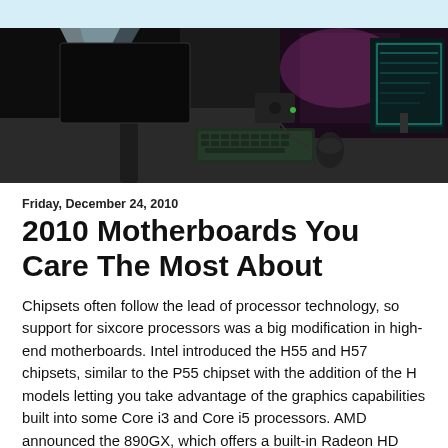[Figure (photo): Dark themed computer desk scene with keyboard, mouse, monitor, and computer hardware components visible in a dark room environment]
Friday, December 24, 2010
2010 Motherboards You Care The Most About
Chipsets often follow the lead of processor technology, so support for sixcore processors was a big modification in high-end motherboards. Intel introduced the H55 and H57 chipsets, similar to the P55 chipset with the addition of the H models letting you take advantage of the graphics capabilities built into some Core i3 and Core i5 processors. AMD announced the 890GX, which offers a built-in Radeon HD 4290 graphics core and six native 6Gbps SATA ports, as well as the 890FX chipset, which supports AMD's six-core processors and two graphics cards in CrossFire at full x16 speed.